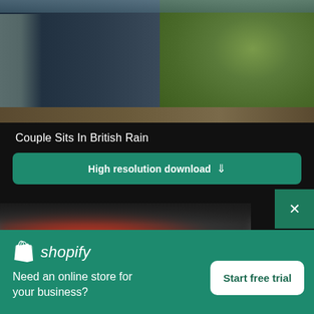[Figure (photo): Photo of a couple sitting outdoors in the rain; dark jacket visible on the left, green textured fleece sleeve on the right, blurred background with rocks or water]
Couple Sits In British Rain
High resolution download ↓
[Figure (photo): Blurred second image showing colorful produce or flowers with dark background]
[Figure (logo): Shopify logo with bag icon and italic wordmark]
Need an online store for your business?
Start free trial